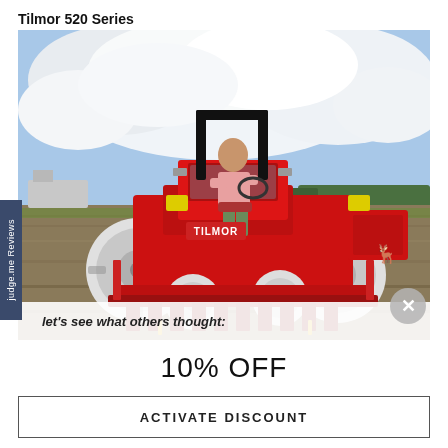Tilmor 520 Series
[Figure (photo): A person driving a red Tilmor 520 Series tractor in an agricultural field with green crops, blue sky and clouds in the background. The tractor is red with a roll bar and front-mounted seeder/planter equipment.]
let's see what others thought:
10% OFF
ACTIVATE DISCOUNT